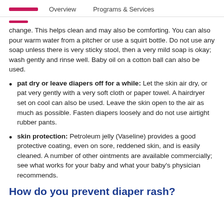Overview    Programs & Services
change. This helps clean and may also be comforting. You can also pour warm water from a pitcher or use a squirt bottle. Do not use any soap unless there is very sticky stool, then a very mild soap is okay; wash gently and rinse well. Baby oil on a cotton ball can also be used.
pat dry or leave diapers off for a while: Let the skin air dry, or pat very gently with a very soft cloth or paper towel. A hairdryer set on cool can also be used. Leave the skin open to the air as much as possible. Fasten diapers loosely and do not use airtight rubber pants.
skin protection: Petroleum jelly (Vaseline) provides a good protective coating, even on sore, reddened skin, and is easily cleaned. A number of other ointments are available commercially; see what works for your baby and what your baby's physician recommends.
How do you prevent diaper rash?